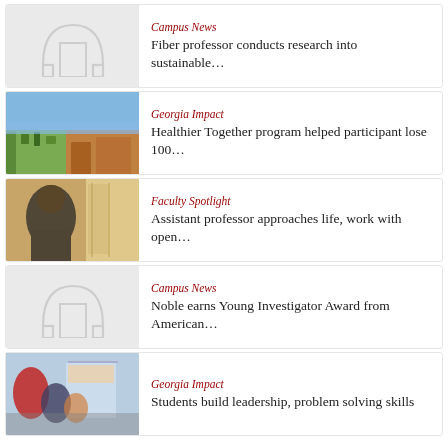Campus News
Fiber professor conducts research into sustainable...
Georgia Impact
Healthier Together program helped participant lose 100...
Faculty Spotlight
Assistant professor approaches life, work with open...
Campus News
Noble earns Young Investigator Award from American...
Georgia Impact
Students build leadership, problem solving skills